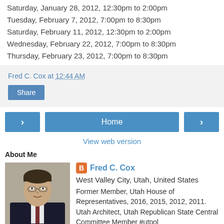Saturday, January 28, 2012, 12:30pm to 2:00pm
Tuesday, February 7, 2012, 7:00pm to 8:30pm
Saturday, February 11, 2012, 12:30pm to 2:00pm
Wednesday, February 22, 2012, 7:00pm to 8:30pm
Thursday, February 23, 2012, 7:00pm to 8:30pm
Fred C. Cox at 12:44 AM
Share
Home
View web version
About Me
[Figure (photo): Profile photo of Fred C. Cox, a man in a dark suit]
Fred C. Cox
West Valley City, Utah, United States
Former Member, Utah House of Representatives, 2016, 2015, 2012, 2011. Utah Architect, Utah Republican State Central Committee Member #utpol